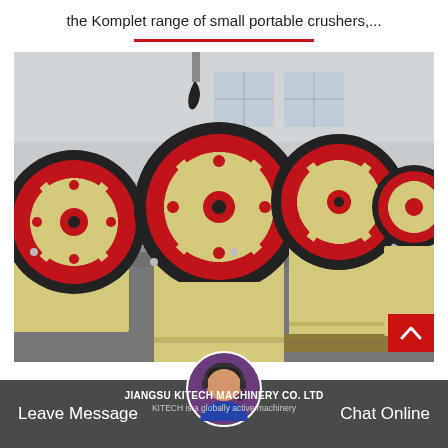the Komplet range of small portable crushers,...
[Figure (photo): Row of yellow jaw crusher machines with red and black flywheels lined up in an industrial warehouse/factory floor. Overhead crane hook visible at top. Multiple identical machines receding into background.]
Leave Message | JIANGSU KITECH MACHINERY CO. LTD | Chat Online | KITECH is a globally active machinery